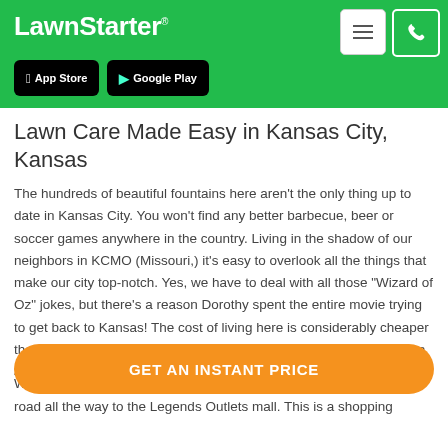LawnStarter
[Figure (screenshot): App Store and Google Play download buttons on green header background]
Lawn Care Made Easy in Kansas City, Kansas
The hundreds of beautiful fountains here aren't the only thing up to date in Kansas City. You won't find any better barbecue, beer or soccer games anywhere in the country. Living in the shadow of our neighbors in KCMO (Missouri,) it's easy to overlook all the things that make our city top-notch. Yes, we have to deal with all those "Wizard of Oz" jokes, but there's a reason Dorothy spent the entire movie trying to get back to Kansas! The cost of living here is considerably cheaper than in other major metropolitan cities. (The average rent is less than $800 a month.) We've also got a faster i... W... k road all the way to the Legends Outlets mall. This is a shopping
GET AN INSTANT PRICE